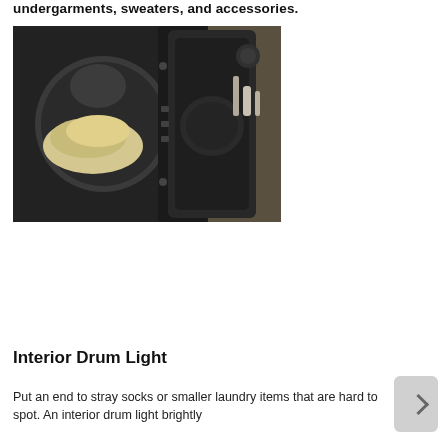undergarments, sweaters, and accessories.
[Figure (photo): A black front-load dryer with door open, showing laundry items inside the drum, photographed in a home laundry setting.]
Interior Drum Light
Put an end to stray socks or smaller laundry items that are hard to spot. An interior drum light brightly